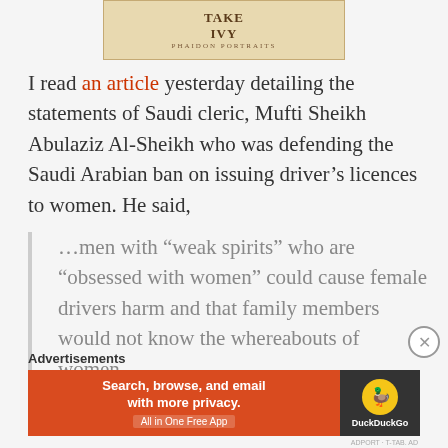[Figure (illustration): Book cover image showing 'TAKE IVY' text with decorative elements on a beige/tan background]
I read an article yesterday detailing the statements of Saudi cleric, Mufti Sheikh Abulaziz Al-Sheikh who was defending the Saudi Arabian ban on issuing driver's licences to women. He said,
…men with "weak spirits" who are "obsessed with women" could cause female drivers harm and that family members would not know the whereabouts of women.
Advertisements
[Figure (screenshot): DuckDuckGo advertisement banner: 'Search, browse, and email with more privacy. All in One Free App' with DuckDuckGo duck logo on dark background]